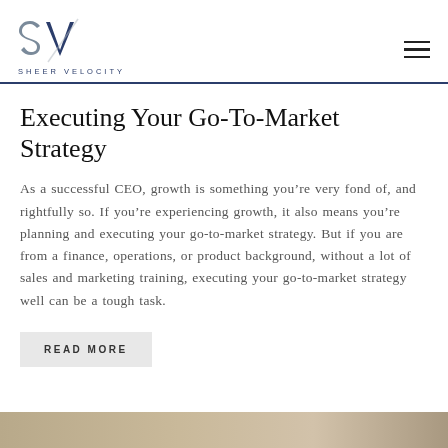SHEER VELOCITY
Executing Your Go-To-Market Strategy
As a successful CEO, growth is something you’re very fond of, and rightfully so. If you’re experiencing growth, it also means you’re planning and executing your go-to-market strategy. But if you are from a finance, operations, or product background, without a lot of sales and marketing training, executing your go-to-market strategy well can be a tough task.
READ MORE
[Figure (photo): Partial bottom strip of an image, appears to be a landscape or scene photo in warm tones]